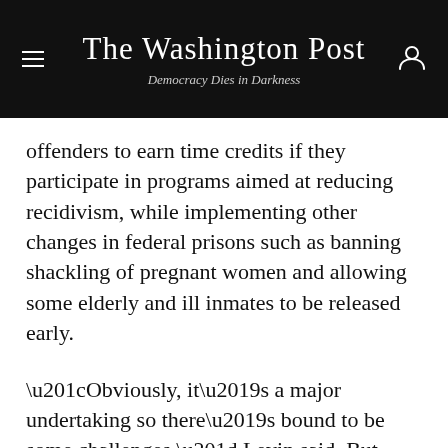The Washington Post — Democracy Dies in Darkness
offenders to earn time credits if they participate in programs aimed at reducing recidivism, while implementing other changes in federal prisons such as banning shackling of pregnant women and allowing some elderly and ill inmates to be released early.
“Obviously, it’s a major undertaking so there’s bound to be some challenges,” Levin said. But “the White House is really committed to making this work.”
4 Comments
Gift Article
[Figure (photo): Advertisement banner for Charter Spectrum reading 'INVESTING IN OUR EMPLOYEES' with a worker in a hard hat and yellow safety vest on left side, dark blue background.]